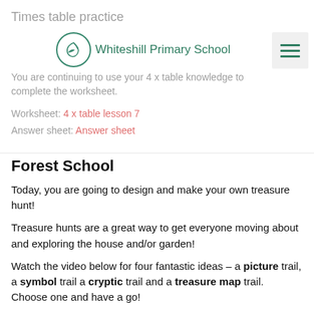Times table practice
[Figure (logo): Whiteshill Primary School logo — circular icon with a bird and school name in teal/green]
You are continuing to use your 4 x table knowledge to complete the worksheet.
Worksheet: 4 x table lesson 7
Answer sheet: Answer sheet
Forest School
Today, you are going to design and make your own treasure hunt!
Treasure hunts are a great way to get everyone moving about and exploring the house and/or garden!
Watch the video below for four fantastic ideas – a picture trail, a symbol trail a cryptic trail and a treasure map trail. Choose one and have a go!